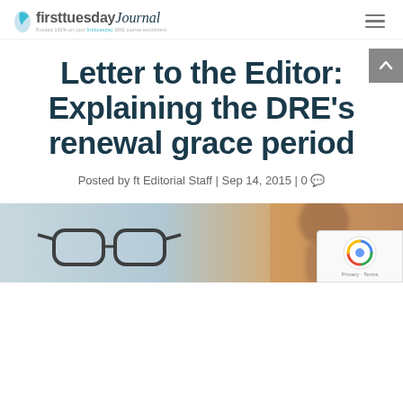firsttuesdayJournal - Funded 100% on your firsttuesday DRE course enrollment
Letter to the Editor: Explaining the DRE’s renewal grace period
Posted by ft Editorial Staff | Sep 14, 2015 | 0
[Figure (photo): A blurred photograph showing glasses in the foreground and a person in the background, representing an editorial or legal/professional context]